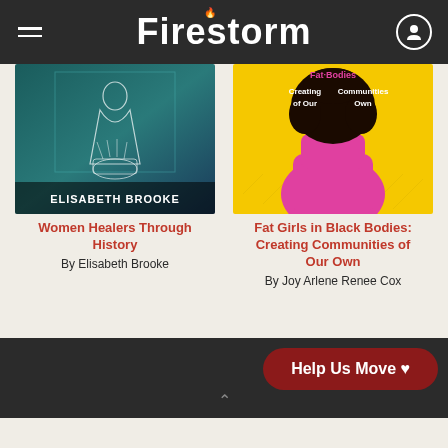Firestorm
[Figure (photo): Book cover of Women Healers Through History by Elisabeth Brooke — dark teal/green background with white line illustration of a robed figure and text at bottom]
Women Healers Through History
By Elisabeth Brooke
[Figure (photo): Book cover of Fat Girls in Black Bodies: Creating Communities of Our Own by Joy Arlene Renee Cox — yellow background with illustrated Black woman with afro hair in pink dress, viewed from behind]
Fat Girls in Black Bodies: Creating Communities of Our Own
By Joy Arlene Renee Cox
Help Us Move ♥